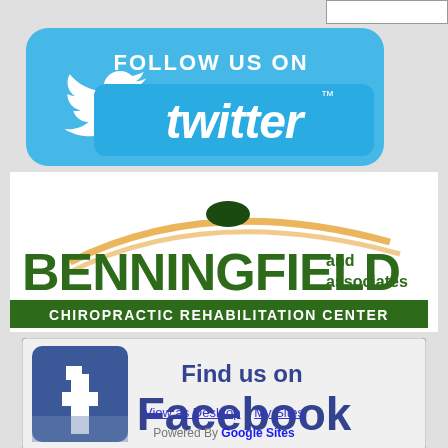[Figure (logo): Follow us on Twitter banner with Twitter bird logo on blue rounded rectangle background]
[Figure (logo): Benningfield and Associates Chiropractic Rehabilitation Center logo with swoosh graphic]
[Figure (logo): Find us on Facebook banner with Facebook f logo on light grey/white rounded rectangle background]
View as Desktop   My Sites
Powered By Google Sites